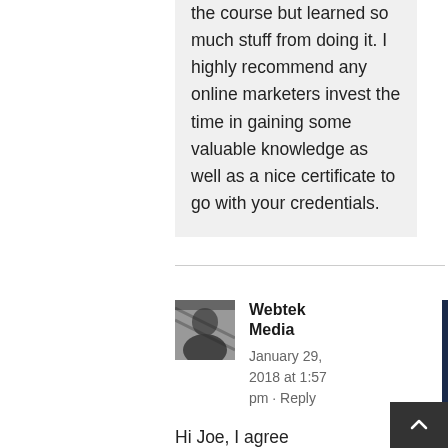the course but learned so much stuff from doing it. I highly recommend any online marketers invest the time in gaining some valuable knowledge as well as a nice certificate to go with your credentials.
[Figure (photo): Small black and white avatar photo of a person]
Webtek Media
January 29, 2018 at 1:57 pm · Reply
Hi Joe, I agree